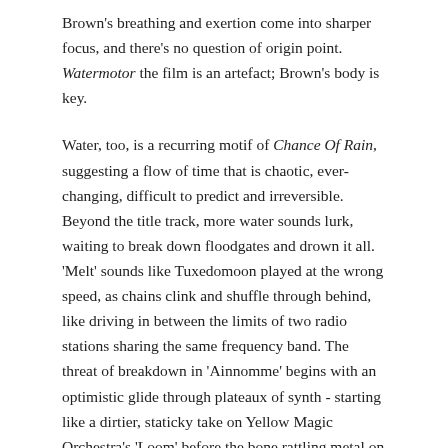Brown's breathing and exertion come into sharper focus, and there's no question of origin point. Watermotor the film is an artefact; Brown's body is key.
Water, too, is a recurring motif of Chance Of Rain, suggesting a flow of time that is chaotic, ever-changing, difficult to predict and irreversible. Beyond the title track, more water sounds lurk, waiting to break down floodgates and drown it all. 'Melt' sounds like Tuxedomoon played at the wrong speed, as chains clink and shuffle through behind, like driving in between the limits of two radio stations sharing the same frequency band. The threat of breakdown in 'Ainnomme' begins with an optimistic glide through plateaux of synth - starting like a dirtier, staticky take on Yellow Magic Orchestra's 'Loom' before the bone rattling metal on hi-hat drums clatter into the mix, the 4/4 kicks in, and at about the 2:30 mark the synth is stripped away, to be replaced with wheezing drill-like noises, grunts of large and heavy machines, on the verge of death.